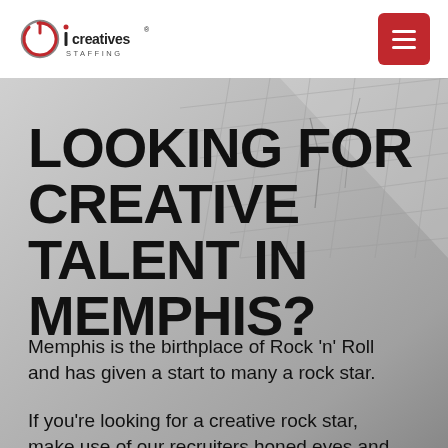[Figure (logo): iCreatives Staffing logo — circular power icon in red on the left, text 'icreatives' in dark with registered mark, 'STAFFING' below in small caps]
[Figure (other): Red square hamburger menu button with three white horizontal lines]
[Figure (photo): Black and white photo of a brick wall/rooftop at an angle, serving as hero background]
LOOKING FOR CREATIVE TALENT IN MEMPHIS?
Memphis is the birthplace of Rock 'n' Roll and has given a start to many a rock star.
If you're looking for a creative rock star, make use of our recruiters honed eyes and